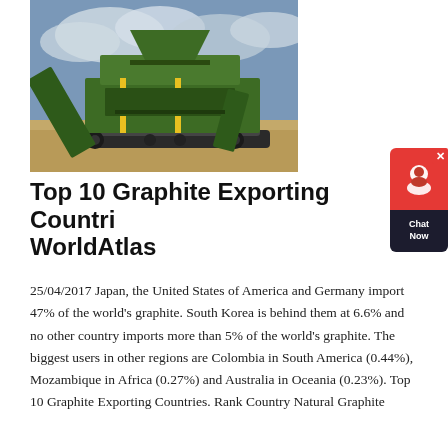[Figure (photo): A large green industrial mining or crushing machine/equipment on a sandy/earthy terrain, photographed outdoors under a cloudy sky.]
Top 10 Graphite Exporting Countries - WorldAtlas
25/04/2017 Japan, the United States of America and Germany import 47% of the world's graphite. South Korea is behind them at 6.6% and no other country imports more than 5% of the world's graphite. The biggest users in other regions are Colombia in South America (0.44%), Mozambique in Africa (0.27%) and Australia in Oceania (0.23%). Top 10 Graphite Exporting Countries. Rank Country Natural Graphite